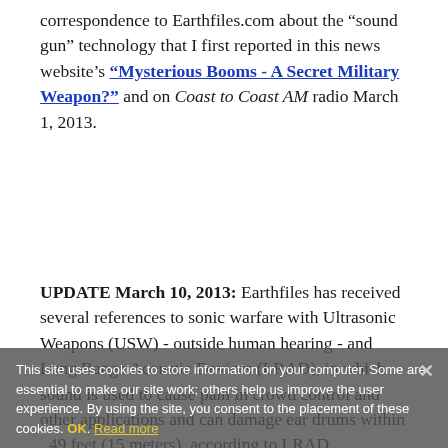correspondence to Earthfiles.com about the “sound gun” technology that I first reported in this news website’s “Mysterious Booms - A Secret Military Weapon?” and on Coast to Coast AM radio March 1, 2013.
UPDATE March 10, 2013: Earthfiles has received several references to sonic warfare with Ultrasonic Weapons (USW) - outside human hearing - and Long Range Acoustic Devices (LRAD), in which sound is used to cause pain in crowd control and other applications and can damage ear drums within 49 feet (15 meters), according to LRAD Corporation offici
This site uses cookies to store information on your computer. Some are essential to make our site work; others help us improve the user experience. By using the site, you consent to the placement of these cookies. OK. Read more